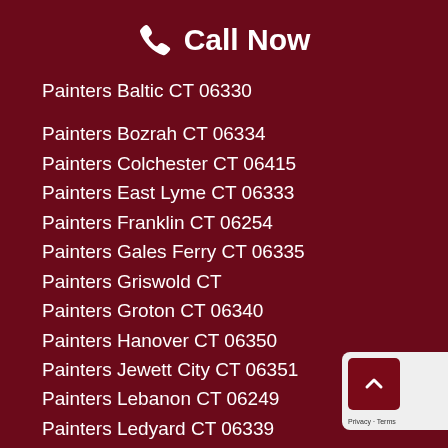Call Now
Painters Baltic CT 06330
Painters Bozrah CT 06334
Painters Colchester CT 06415
Painters East Lyme CT 06333
Painters Franklin CT 06254
Painters Gales Ferry CT 06335
Painters Griswold CT
Painters Groton CT 06340
Painters Hanover CT 06350
Painters Jewett City CT 06351
Painters Lebanon CT 06249
Painters Ledyard CT 06339
Painters Lisbon CT 06351
Painters Lords Point CT 06378